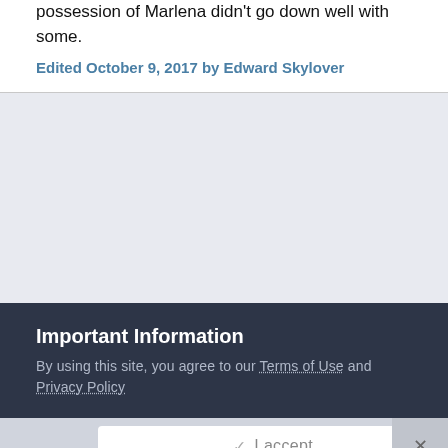possession of Marlena didn't go down well with some.
Edited October 9, 2017 by Edward Skylover
Important Information
By using this site, you agree to our Terms of Use and Privacy Policy
✓ I accept